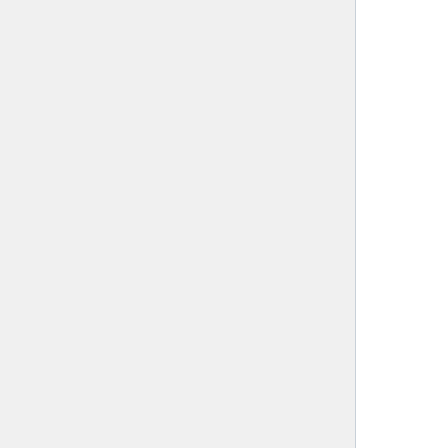tasks, regardless of how long it actually takes to complete the tasks. Try to understand how work is distributed to employees and expectations are set. Truly understanding the amount of time it should take to complete tasks will allow you to better asses the true root cause of excessive idle time.
In addition to understanding where there is too much idle time, analysts should also look for instances where there is too little idle time. When idle time is below 20%, that could be a good indicator that an employee has a high potential for burnout. They are typically viewed as "rock stars", or high performers, because of their ability to get a lot of work completed. What ends up happening is that the employee will work through lunches and breaks, but create their own